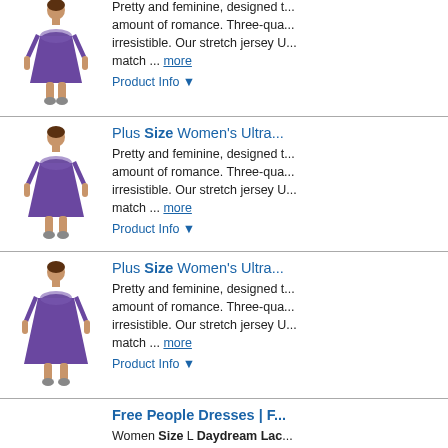[Figure (photo): Woman in purple dress, three-quarter sleeves, partial product listing item at top]
Pretty and feminine, designed t... amount of romance. Three-qua... irresistible. Our stretch jersey U... match ... more
Product Info ▼
Plus Size Women's Ultra...
[Figure (photo): Woman in purple dress, three-quarter sleeves]
Pretty and feminine, designed t... amount of romance. Three-qua... irresistible. Our stretch jersey U... match ... more
Product Info ▼
Plus Size Women's Ultra...
[Figure (photo): Woman in purple dress, three-quarter sleeves]
Pretty and feminine, designed t... amount of romance. Three-qua... irresistible. Our stretch jersey U... match ... more
Product Info ▼
Free People Dresses | F...
Women Size L Daydream Lac... Pink Colorsleevelessjewel Nec... Shoulder See Thru. Scallop La... Shape And In Excellent ... more
Product Info ▼
Plus Size Women's Sco...